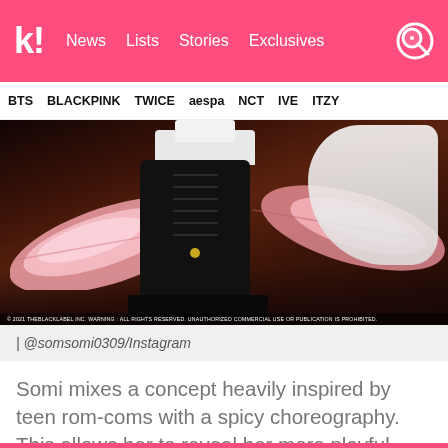k! News Lists Stories Exclusives
BTS BLACKPINK TWICE aespa NCT IVE ITZY
[Figure (photo): Close-up photo of black platform combat boots with white socks, surrounded by pink feathers on a dark ground. Copyright line: © 2021 THEBLACKLABEL INC. WARNING : ALL RIGHTS RESERVED. UNAUTHORIZED COMMERCIAL USE OR PUBLICATION IS PROHIBITED.]
| @somsomi0309/Instagram
Somi mixes a concept heavily inspired by teen rom-coms with a spicy choreography. This allows her to reveal her more playful nature while getting to show off her hot visuals.